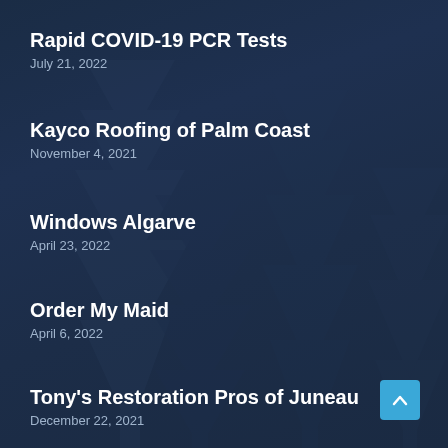Rapid COVID-19 PCR Tests
July 21, 2022
Kayco Roofing of Palm Coast
November 4, 2021
Windows Algarve
April 23, 2022
Order My Maid
April 6, 2022
Tony's Restoration Pros of Juneau
December 22, 2021